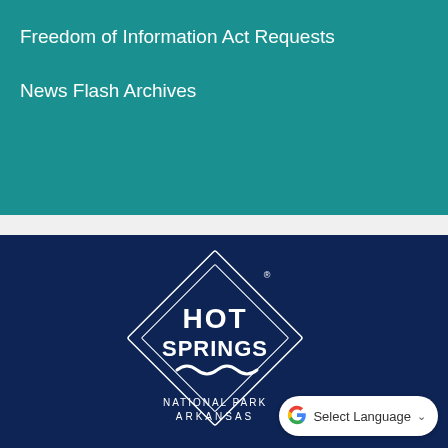Freedom of Information Act Requests
News Flash Archives
[Figure (logo): Hot Springs National Park Arkansas logo — white diamond/square rotated shape with 'HOT SPRINGS' text and wavy line, 'NATIONAL PARK ARKANSAS' at bottom, registered trademark symbol, on dark navy background]
Select Language